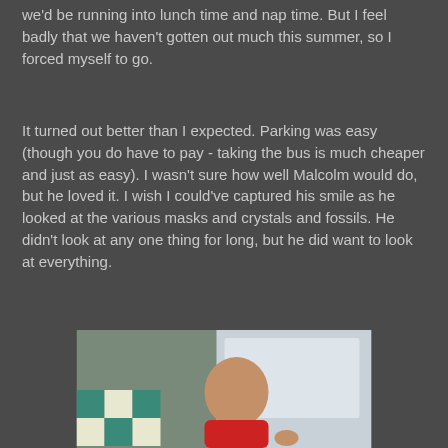we'd be running into lunch time and nap time. But I feel badly that we haven't gotten out much this summer, so I forced myself to go.
It turned out better than I expected. Parking was easy (though you do have to pay - taking the bus is much cheaper and just as easy). I wasn't sure how well Malcolm would do, but he loved it. I wish I could've captured his smile as he looked at the various masks and crystals and fossils. He didn't look at any one thing for long, but he did want to look at everything.
[Figure (photo): A young boy in a red shirt looking at a museum display case with a checkered tile floor visible in the background]